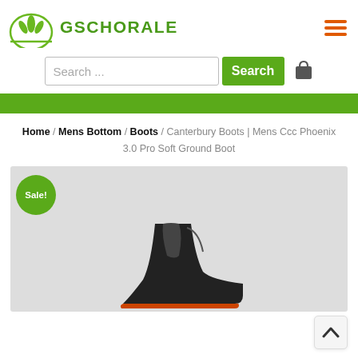[Figure (logo): Gschorale logo: green arch with three leaves above text GSCHORALE in green bold uppercase]
[Figure (other): Hamburger menu icon with three orange horizontal lines]
[Figure (other): Search bar with placeholder text 'Search ...' and green Search button, plus shopping bag icon]
Home / Mens Bottom / Boots / Canterbury Boots | Mens Ccc Phoenix 3.0 Pro Soft Ground Boot
[Figure (photo): Product image area with light grey background showing a sports boot (Canterbury Phoenix 3.0 Pro Soft Ground Boot) with a green circle Sale! badge in top left corner]